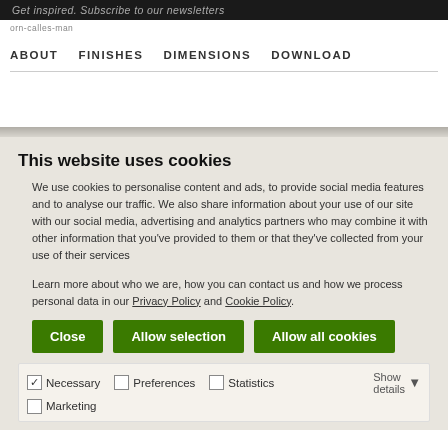Get inspired. Subscribe to our newsletters
ABOUT    FINISHES    DIMENSIONS    DOWNLOAD
This website uses cookies
We use cookies to personalise content and ads, to provide social media features and to analyse our traffic. We also share information about your use of our site with our social media, advertising and analytics partners who may combine it with other information that you've provided to them or that they've collected from your use of their services
Learn more about who we are, how you can contact us and how we process personal data in our Privacy Policy and Cookie Policy.
Close   Allow selection   Allow all cookies
✓ Necessary   Preferences   Statistics   Show details   Marketing